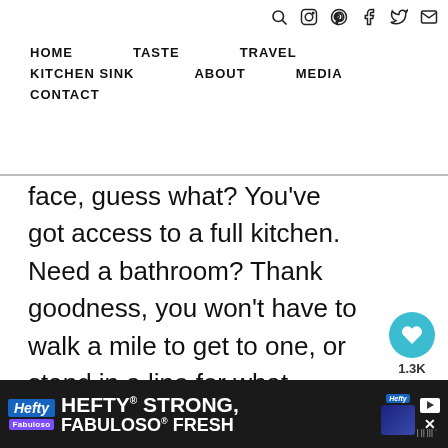HOME   TASTE   TRAVEL   KITCHEN SINK   ABOUT   MEDIA   CONTACT
face, guess what? You've got access to a full kitchen. Need a bathroom? Thank goodness, you won't have to walk a mile to get to one, or stand in a line for what seems like an eternity after you've had a stadium sized cup of your favorite football beverage(s).
[Figure (other): What's Next panel with Apple Pie Puff Pastry Cups thumbnail and social sharing buttons (heart icon with 1.3K count, share icon)]
[Figure (other): Advertisement banner: Hefty Strong, Fabuloso Fresh ad with logos and product image]